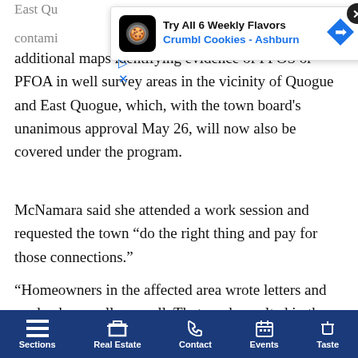East Qu... contami...
[Figure (screenshot): Advertisement overlay for Crumbl Cookies - Ashburn: 'Try All 6 Weekly Flavors' with cookie icon and navigation arrow]
Since th... additional maps identifying evidence of PFOS or PFOA in well survey areas in the vicinity of Quogue and East Quogue, which, with the town board's unanimous approval May 26, will now also be covered under the program.
McNamara said she attended a work session and requested the town “do the right thing and pay for those connections.”
“Homeowners in the affected area wrote letters and made phone calls as well. That work resulted in the new resolution that just passed,” she said. “This whole situation really showed me how important it is that communities have strong
Sections | Real Estate | Contact | Events | Taste